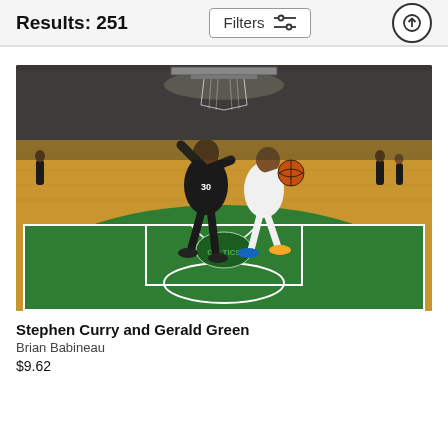Results: 251
[Figure (photo): Basketball action photo showing Stephen Curry (Golden State Warriors) driving to the basket against Gerald Green (Boston Celtics #30) on a green-painted court at TD Garden, with a packed crowd in the background.]
Stephen Curry and Gerald Green
Brian Babineau
$9.62